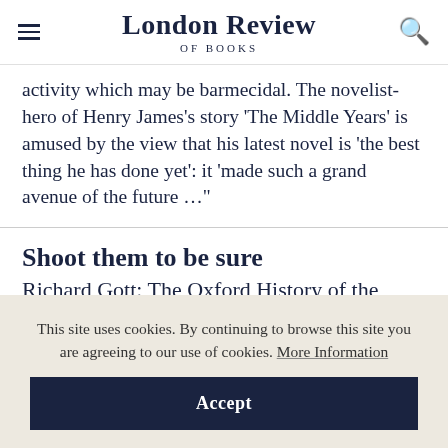London Review of Books
activity which may be barmecidal. The novelist-hero of Henry James’s story ‘The Middle Years’ is amused by the view that his latest novel is ‘the best thing he has done yet’: it ‘made such a grand avenue of the future …”
Shoot them to be sure
Richard Gott: The Oxford History of the
This site uses cookies. By continuing to browse this site you are agreeing to our use of cookies. More Information
Accept